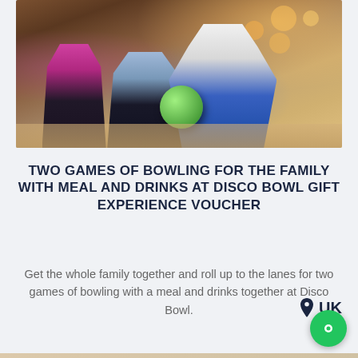[Figure (photo): People bowling at an indoor bowling alley. A man in a white long-sleeve shirt is releasing a green bowling ball, with two other people (a woman in magenta top and a man in blue/grey shirt) in the background, bokeh lights visible in the upper portion.]
TWO GAMES OF BOWLING FOR THE FAMILY WITH MEAL AND DRINKS AT DISCO BOWL GIFT EXPERIENCE VOUCHER
Get the whole family together and roll up to the lanes for two games of bowling with a meal and drinks together at Disco Bowl.
UK